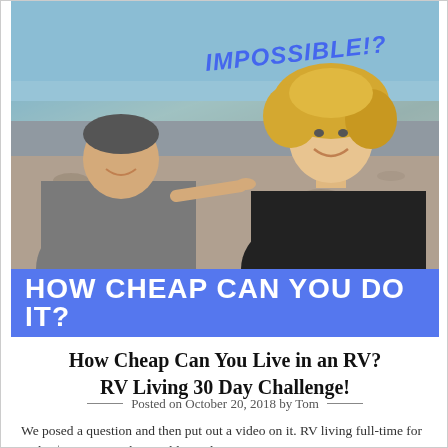[Figure (photo): Two people standing outdoors near a rocky shoreline with water in the background. Text 'IMPOSSIBLE!?' appears in blue italic bold lettering. A man in a gray t-shirt is on the left, and a woman with curly blonde hair in a black top is on the right.]
HOW CHEAP CAN YOU DO IT?
How Cheap Can You Live in an RV? RV Living 30 Day Challenge!
Posted on October 20, 2018 by Tom
We posed a question and then put out a video on it. RV living full-time for under $1000 a month....could you do it? So far it has been a great success and we pride ourselves...